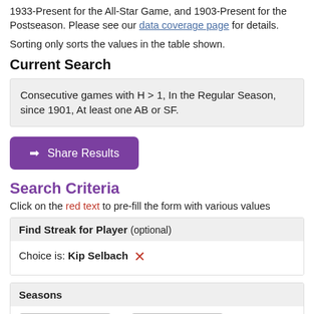1933-Present for the All-Star Game, and 1903-Present for the Postseason. Please see our data coverage page for details.
Sorting only sorts the values in the table shown.
Current Search
Consecutive games with H > 1, In the Regular Season, since 1901, At least one AB or SF.
➡ Share Results
Search Criteria
Click on the red text to pre-fill the form with various values
Find Streak for Player (optional)
Choice is: Kip Selbach ✕
Seasons
Any to Any
Any • 2022 • 2021 • 2020 • Wild-Card Era • Divisional Era •